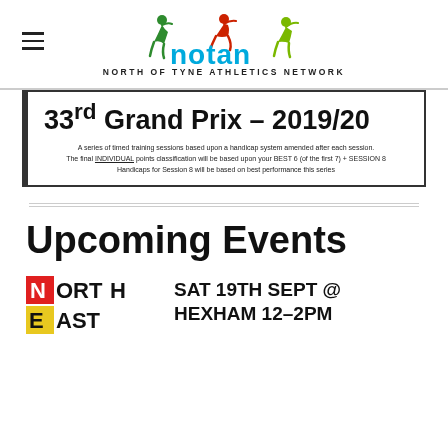NOTAN – NORTH OF TYNE ATHLETICS NETWORK
33rd Grand Prix – 2019/20
A series of timed training sessions based upon a handicap system amended after each session. The final INDIVIDUAL points classification will be based upon your BEST 6 (of the first 7) + SESSION 8 Handicaps for Session 8 will be based on best performance this series
Upcoming Events
[Figure (logo): North East logo with coloured letter blocks]
SAT 19TH SEPT @ HEXHAM 12-2PM